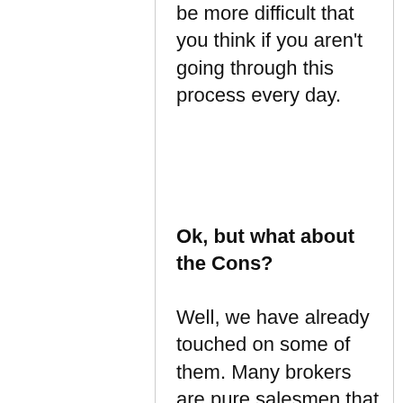be more difficult that you think if you aren't going through this process every day.
Ok, but what about the Cons?
Well, we have already touched on some of them.  Many brokers are pure salesmen that